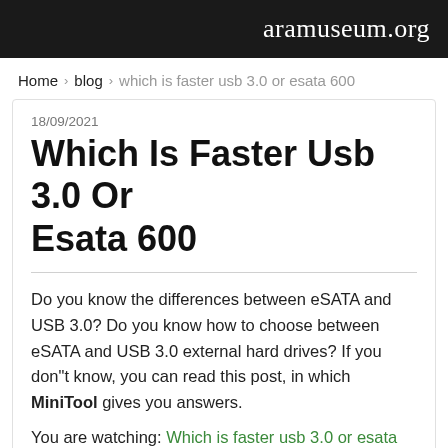aramuseum.org
Home › blog › which is faster usb 3.0 or esata 600
18/09/2021
Which Is Faster Usb 3.0 Or Esata 600
Do you know the differences between eSATA and USB 3.0? Do you know how to choose between eSATA and USB 3.0 external hard drives? If you don"t know, you can read this post, in which MiniTool gives you answers.
You are watching: Which is faster usb 3.0 or esata 600